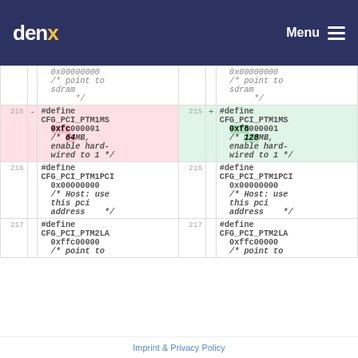denx Menu
| line | marker | left-code | line | marker | right-code |
| --- | --- | --- | --- | --- | --- |
|  |  | 0x00000000
/* point to
sdram
*/ |  |  | 0x00000000
/* point to
sdram
*/ |
| 215 | - | #define
CFG_PCI_PTM1MS
0xfc000001
/* 64MB,
enable hard-
wired to 1 */ | 215 | + | #define
CFG_PCI_PTM1MS
0xf8000001
/* 128MB,
enable hard-
wired to 1 */ |
| 216 |  | #define
CFG_PCI_PTM1PCI
0x00000000
/* Host: use
this pci
address    */ | 216 |  | #define
CFG_PCI_PTM1PCI
0x00000000
/* Host: use
this pci
address    */ |
| 217 |  | #define
CFG_PCI_PTM2LA
0xffc00000 | 217 |  | #define
CFG_PCI_PTM2LA
0xffc00000 |
Imprint & Privacy Policy